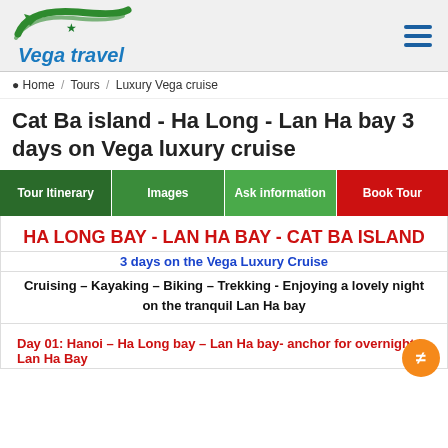Vega travel
Home / Tours / Luxury Vega cruise
Cat Ba island - Ha Long - Lan Ha bay 3 days on Vega luxury cruise
Tour Itinerary | Images | Ask information | Book Tour
HA LONG BAY - LAN HA BAY - CAT BA ISLAND
3 days on the Vega Luxury Cruise
Cruising – Kayaking – Biking – Trekking - Enjoying a lovely night on the tranquil Lan Ha bay
Day 01: Hanoi – Ha Long bay – Lan Ha bay- anchor for overnight in Lan Ha Bay